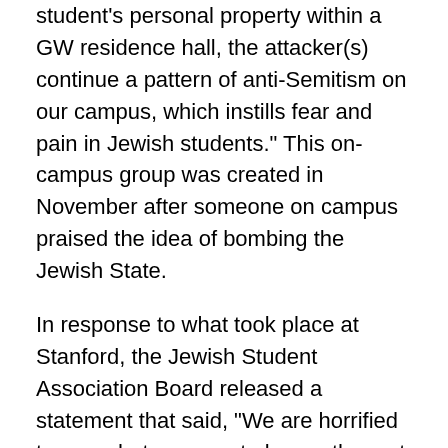student's personal property within a GW residence hall, the attacker(s) continue a pattern of anti-Semitism on our campus, which instills fear and pain in Jewish students." This on-campus group was created in November after someone on campus praised the idea of bombing the Jewish State.
In response to what took place at Stanford, the Jewish Student Association Board released a statement that said, “We are horrified to see what appears to be another act of hatred on our campus, fitting within a broader pattern of instances that have threatened racial, ethnic, and religious minority communities this year. It is imperative that Stanford take meaningful steps to prioritize the safety of the Jewish community, alongside all those who are